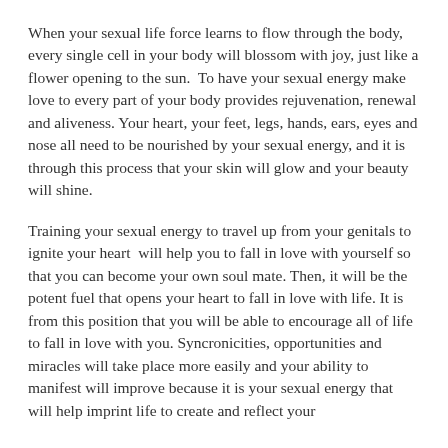When your sexual life force learns to flow through the body, every single cell in your body will blossom with joy, just like a flower opening to the sun.  To have your sexual energy make love to every part of your body provides rejuvenation, renewal and aliveness. Your heart, your feet, legs, hands, ears, eyes and nose all need to be nourished by your sexual energy, and it is through this process that your skin will glow and your beauty will shine.
Training your sexual energy to travel up from your genitals to ignite your heart  will help you to fall in love with yourself so that you can become your own soul mate. Then, it will be the potent fuel that opens your heart to fall in love with life. It is from this position that you will be able to encourage all of life to fall in love with you. Syncronicities, opportunities and miracles will take place more easily and your ability to manifest will improve because it is your sexual energy that will help imprint life to create and reflect your